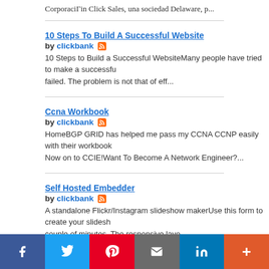CorporaciГin Click Sales, una sociedad Delaware, p...
10 Steps To Build A Successful Website
by clickbank [rss]
10 Steps to Build a Successful WebsiteMany people have tried to make a successful failed. The problem is not that of eff...
Ccna Workbook
by clickbank [rss]
HomeBGP GRID has helped me pass my CCNA CCNP easily with their workbook Now on to CCIE!Want To Become A Network Engineer?...
Self Hosted Embedder
by clickbank [rss]
A standalone Flickr/Instagram slideshow makerUse this form to create your slidesh couple of minutes. The responsive layo...
[Figure (photo): Thumbnail image for Money Magnet landing page showing a website screenshot]
" Money Magnet - Landing Page " - Responsive Wordpress...
by clickbank [rss]
Money Magnet - Landing Page | Fully Responsive WordP вЂ" Landing page is fully responsive WordPress theme ar